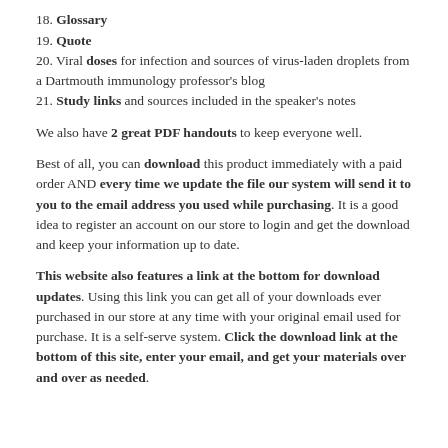18. Glossary
19. Quote
20. Viral doses for infection and sources of virus-laden droplets from a Dartmouth immunology professor's blog
21. Study links and sources included in the speaker's notes
We also have 2 great PDF handouts to keep everyone well.
Best of all, you can download this product immediately with a paid order AND every time we update the file our system will send it to you to the email address you used while purchasing. It is a good idea to register an account on our store to login and get the download and keep your information up to date.
This website also features a link at the bottom for download updates. Using this link you can get all of your downloads ever purchased in our store at any time with your original email used for purchase. It is a self-serve system. Click the download link at the bottom of this site, enter your email, and get your materials over and over as needed.